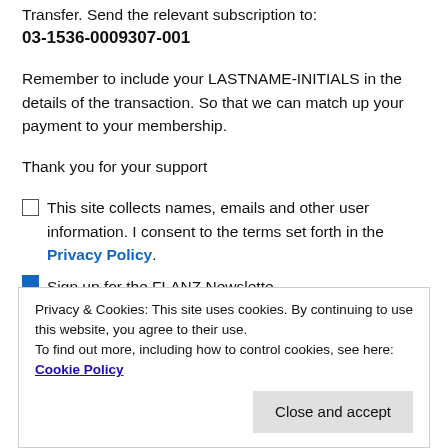Transfer. Send the relevant subscription to:
03-1536-0009307-001
Remember to include your LASTNAME-INITIALS in the details of the transaction. So that we can match up your payment to your membership.
Thank you for your support
This site collects names, emails and other user information. I consent to the terms set forth in the Privacy Policy.
Sign up for the FLANZ Newsletter
Privacy & Cookies: This site uses cookies. By continuing to use this website, you agree to their use. To find out more, including how to control cookies, see here: Cookie Policy
Close and accept